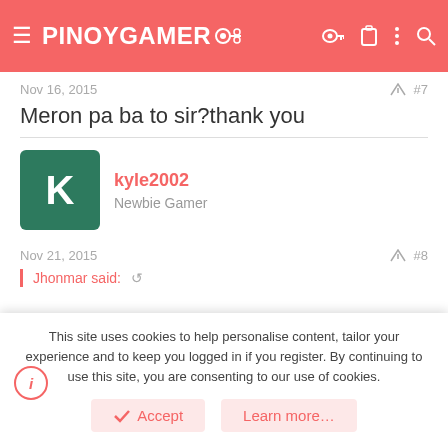PINOYGAMER
Nov 16, 2015   #7
Meron pa ba to sir?thank you
kyle2002
Newbie Gamer
Nov 21, 2015   #8
Jhonmar said:
This site uses cookies to help personalise content, tailor your experience and to keep you logged in if you register. By continuing to use this site, you are consenting to our use of cookies.